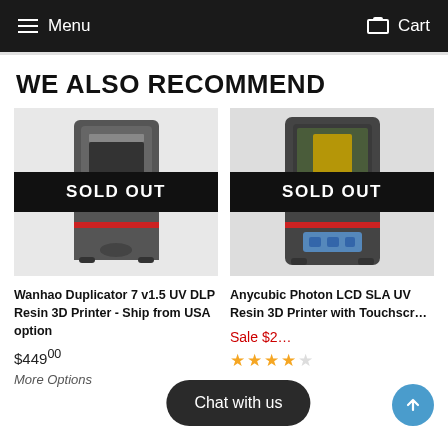Menu  Cart
WE ALSO RECOMMEND
[Figure (photo): Wanhao Duplicator 7 v1.5 UV DLP Resin 3D Printer with SOLD OUT banner overlay]
Wanhao Duplicator 7 v1.5 UV DLP Resin 3D Printer - Ship from USA option
$449.00
More Options
[Figure (photo): Anycubic Photon LCD SLA UV Resin 3D Printer with Touchscreen, SOLD OUT banner overlay]
Anycubic Photon LCD SLA UV Resin 3D Printer with Touchscreen
Sale $2...
★★★★☆